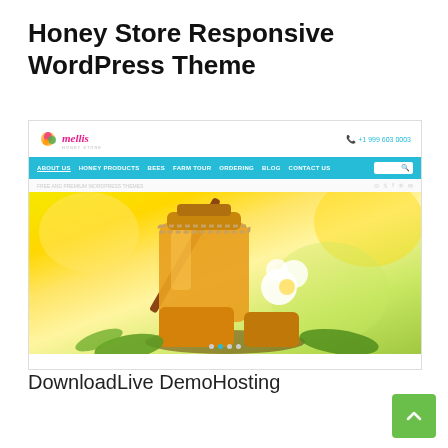Honey Store Responsive WordPress Theme
[Figure (screenshot): Screenshot of the Mellis Honey Store WordPress theme demo showing a teal navigation bar with menu items (About Us, Honey Products, Bees, Farm Tour, Ordering, Blog, Contact Us), a logo with 'mellis' branding, a phone number, and a hero image featuring honey jars, honeycomb, and white flowers on a warm golden background with slide dots at the bottom.]
DownloadLive DemoHosting